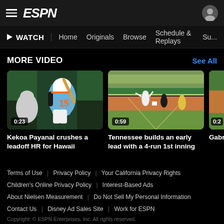ESPN
▶ WATCH | Home | Originals | Browse | Schedule & Replays | Su...
MORE VIDEO
See All
[Figure (photo): Softball batter in light blue jersey #15 mid-swing, duration 0:23]
Kekoa Payanal crushes a leadoff HR for Hawaii
[Figure (photo): Baseball player running bases on a field with crowd in background, duration 0:59]
Tennessee builds an early lead with a 4-run 1st inning
[Figure (photo): Partially visible video thumbnail, duration 0:2...]
Gabri... grand... ahead...
Terms of Use | Privacy Policy | Your California Privacy Rights | Children's Online Privacy Policy | Interest-Based Ads | About Nielsen Measurement | Do Not Sell My Personal Information | Contact Us | Disney Ad Sales Site | Work for ESPN
Copyright: © ESPN Enterprises, Inc. All rights reserved.